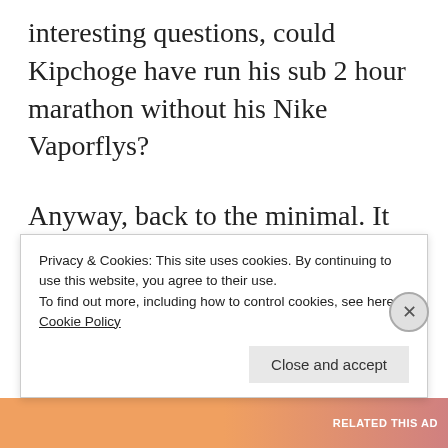interesting questions, could Kipchoge have run his sub 2 hour marathon without his Nike Vaporflys?
Anyway, back to the minimal. It might sound weird but when you put them on they make your feet feel a bit over-exposed and vulnerable – the biggest reservation I had was how the seemingly thin sole and the absence of any cushioning will protect my feet when
Privacy & Cookies: This site uses cookies. By continuing to use this website, you agree to their use.
To find out more, including how to control cookies, see here: Cookie Policy
Close and accept